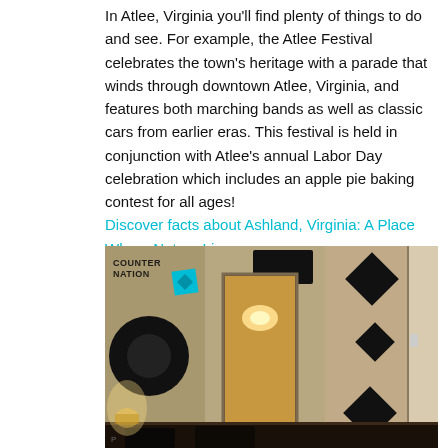In Atlee, Virginia you'll find plenty of things to do and see. For example, the Atlee Festival celebrates the town's heritage with a parade that winds through downtown Atlee, Virginia, and features both marching bands as well as classic cars from earlier eras. This festival is held in conjunction with Atlee's annual Labor Day celebration which includes an apple pie baking contest for all ages! Discover facts about Ashland, Virginia: A Place Where Nature Lives.
[Figure (photo): Interior room photo showing a decorated dining or living area with black diamond and circle wall decor, a doorway/mirror in the center showing a chandelier, dark furniture, and a CounterNation watermark with teal logo in the upper left.]